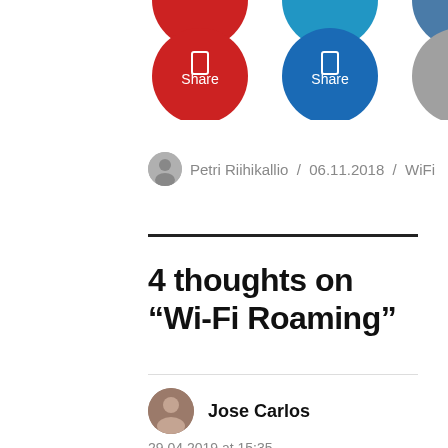[Figure (other): Three social share buttons (circular): red Share, blue Share, gray Mail]
Petri Riihikallio / 06.11.2018 / WiFi
4 thoughts on “Wi-Fi Roaming”
Jose Carlos
29.04.2019 at 15:35